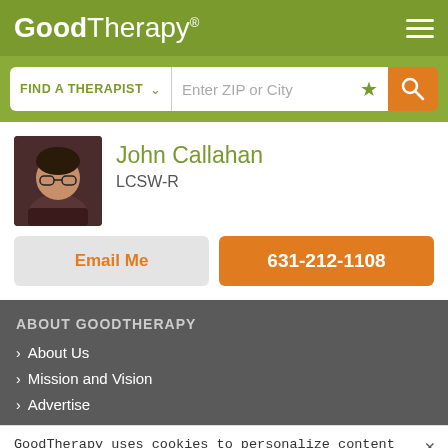GoodTherapy®
[Figure (screenshot): Search bar with FIND A THERAPIST dropdown and Enter ZIP or City input with location icon and orange search button]
[Figure (photo): Profile photo of John Callahan, man with glasses and dark clothing]
John Callahan
LCSW-R
Email Me
631-212-1108
ABOUT GOODTHERAPY
About Us
Mission and Vision
Advertise
GoodTherapy uses cookies to personalize content and ads to provide better services for our users and to analyze our traffic. By continuing to use this site you consent to our cookies.